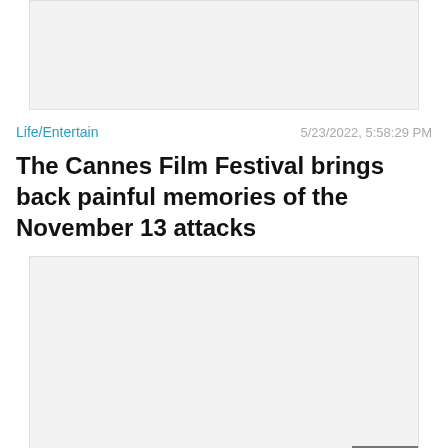[Figure (other): Gray placeholder advertisement banner at top]
Life/Entertain    5/23/2022, 5:58:29 PM
The Cannes Film Festival brings back painful memories of the November 13 attacks
[Figure (other): Gray placeholder advertisement banner in middle with Close X button]
[Figure (other): BitLife mobile game advertisement banner at bottom showing FAIL badge, animated character, flames, BitLife logo and START A NEW LIFE tagline]